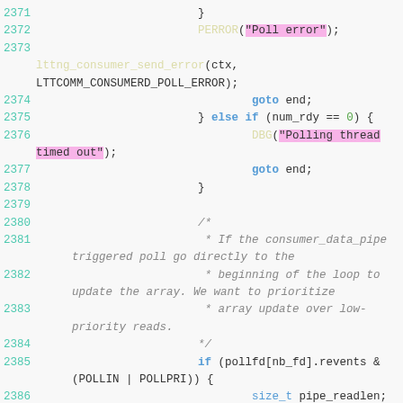[Figure (screenshot): Source code listing showing C code lines 2371-2387, syntax highlighted with line numbers in teal, keywords in blue, strings highlighted in pink/magenta, comments in gray italic, and type names in blue. Code relates to a polling thread error handler with DBG, PERROR, goto statements, and pollfd checks.]